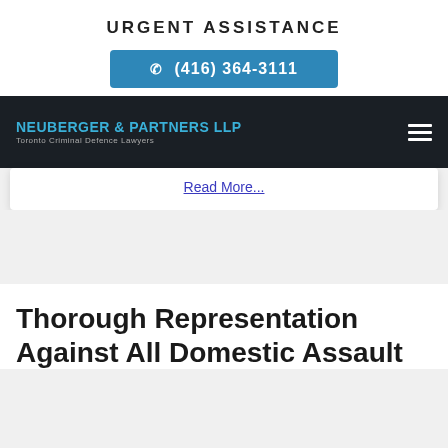URGENT ASSISTANCE
(416) 364-3111
NEUBERGER & PARTNERS LLP Toronto Criminal Defence Lawyers
Read More...
Thorough Representation Against All Domestic Assault